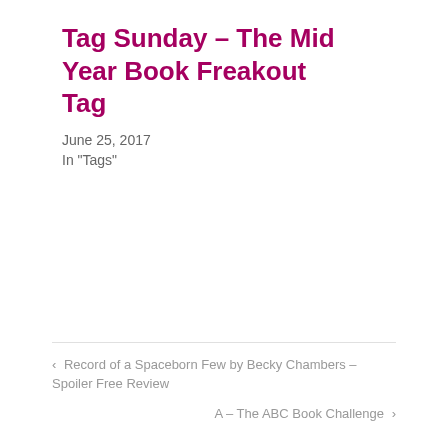Tag Sunday – The Mid Year Book Freakout Tag
June 25, 2017
In "Tags"
‹  Record of a Spaceborn Few by Becky Chambers – Spoiler Free Review
A – The ABC Book Challenge  ›